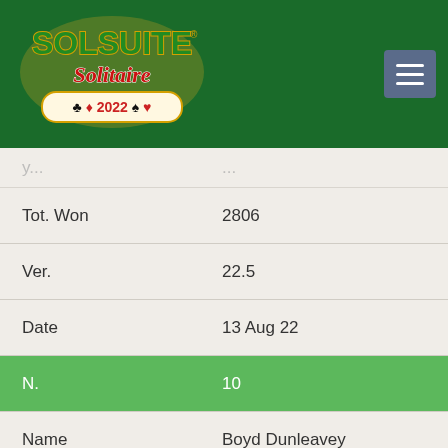[Figure (logo): SolSuite Solitaire 2022 logo with playing card suits on dark green background header]
| Field | Value |
| --- | --- |
| Tot. Won | 2806 |
| Ver. | 22.5 |
| Date | 13 Aug 22 |
| N. | 10 |
| Name | Boyd Dunleavey |
| Flag | 🇨🇦 |